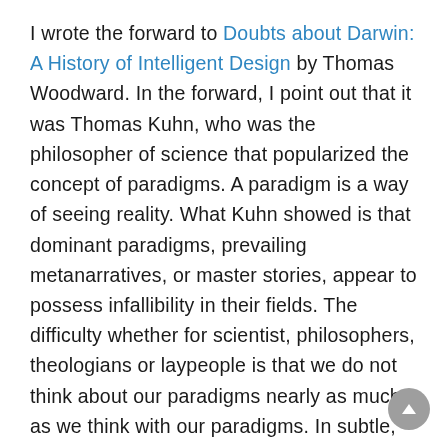I wrote the forward to Doubts about Darwin: A History of Intelligent Design by Thomas Woodward. In the forward, I point out that it was Thomas Kuhn, who was the philosopher of science that popularized the concept of paradigms. A paradigm is a way of seeing reality. What Kuhn showed is that dominant paradigms, prevailing metanarratives, or master stories, appear to possess infallibility in their fields. The difficulty whether for scientist, philosophers, theologians or laypeople is that we do not think about our paradigms nearly as much as we think with our paradigms. In subtle, powerful, and almost always unconscious ways our paradigms filter and frame our perceptions, and that ends up blinding us to disconfirming data.